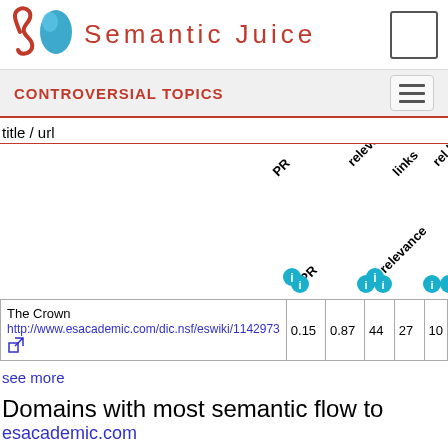Semantic Juice
CONTROVERSIAL TOPICS
title / url
| title / url | PR | relevance | links | rel links | external |
| --- | --- | --- | --- | --- | --- |
| The Crown
http://www.esacademic.com/dic.nsf/eswiki/1142973 | 0.15 | 0.87 | 44 | 27 | 10 |
see more
Domains with most semantic flow to esacademic.com